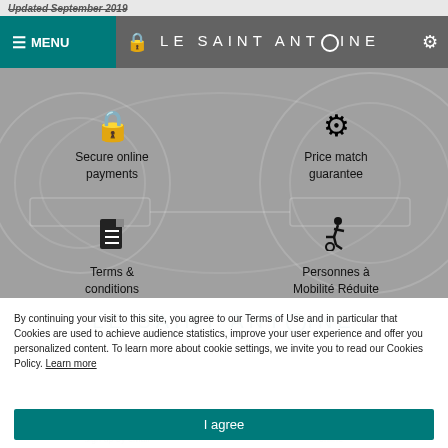Updated September 2019
[Figure (screenshot): Navigation bar with teal MENU button and 'LE SAINT ANTOINE' brand name on grey background]
[Figure (infographic): Hero section with icons: lock icon for 'Secure online payments', gear icon for 'Price match guarantee', document icon for 'Terms & conditions', wheelchair icon for 'Personnes à Mobilité Réduite']
Secure online payments
Price match guarantee
Terms & conditions
Personnes à Mobilité Réduite
LE SAINT ANTOINE
BW PREMIER COLLECTION
By continuing your visit to this site, you agree to our Terms of Use and in particular that Cookies are used to achieve audience statistics, improve your user experience and offer you personalized content. To learn more about cookie settings, we invite you to read our Cookies Policy. Learn more
27, avenue Janvier, 35000 Rennes
I agree